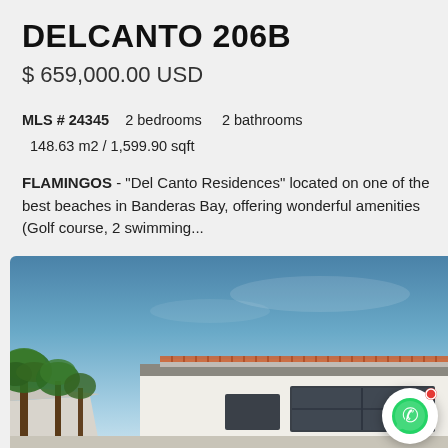DELCANTO 206B
$ 659,000.00 USD
MLS # 24345    2 bedrooms    2 bathrooms
148.63 m2 / 1,599.90 sqft
FLAMINGOS - "Del Canto Residences" located on one of the best beaches in Banderas Bay, offering wonderful amenities (Golf course, 2 swimming...
[Figure (photo): Exterior photo of Del Canto Residences building showing white modern structure with terracotta roof tiles against blue sky, with palm trees on the left side.]